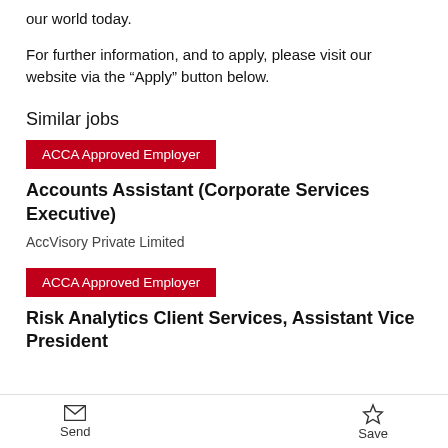our world today.
For further information, and to apply, please visit our website via the “Apply” button below.
Similar jobs
[Figure (other): ACCA Approved Employer badge (red background, white text)]
Accounts Assistant (Corporate Services Executive)
AccVisory Private Limited
[Figure (other): ACCA Approved Employer badge (red background, white text)]
Risk Analytics Client Services, Assistant Vice President
Send   Save